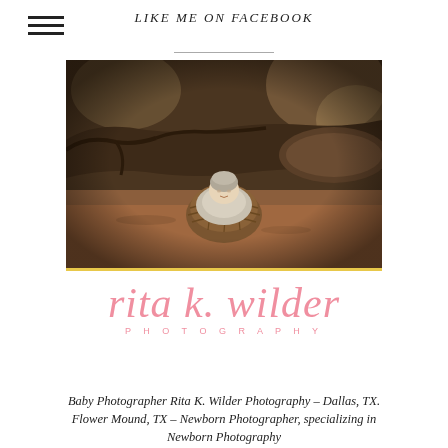LIKE ME ON FACEBOOK
[Figure (photo): Newborn baby wrapped in grey knit fabric, cradled in a brown basket/pod, placed on reddish-brown dirt ground surrounded by tree roots and driftwood in an outdoor forest setting.]
[Figure (logo): Rita K. Wilder Photography logo — script cursive pink text 'rita k. wilder' with 'PHOTOGRAPHY' in small spaced caps below.]
Baby Photographer Rita K. Wilder Photography – Dallas, TX. Flower Mound, TX – Newborn Photographer, specializing in Newborn Photography